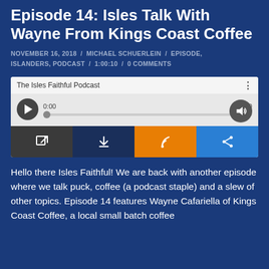Episode 14: Isles Talk With Wayne From Kings Coast Coffee
NOVEMBER 16, 2018 / MICHAEL SCHUERLEIN / EPISODE, ISLANDERS, PODCAST / 1:00:10 / 0 COMMENTS
[Figure (screenshot): Podcast audio player widget for 'The Isles Faithful Podcast' showing play button, progress bar at 0:00, volume control, and action buttons for external link, download, RSS, and share.]
Hello there Isles Faithful! We are back with another episode where we talk puck, coffee (a podcast staple) and a slew of other topics. Episode 14 features Wayne Cafariella of Kings Coast Coffee, a local small batch coffee